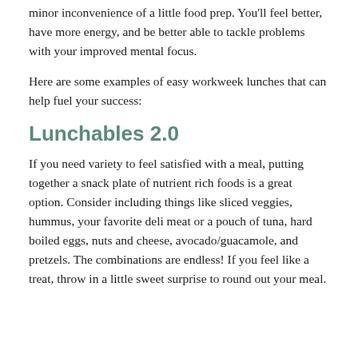minor inconvenience of a little food prep. You'll feel better, have more energy, and be better able to tackle problems with your improved mental focus.
Here are some examples of easy workweek lunches that can help fuel your success:
Lunchables 2.0
If you need variety to feel satisfied with a meal, putting together a snack plate of nutrient rich foods is a great option. Consider including things like sliced veggies, hummus, your favorite deli meat or a pouch of tuna, hard boiled eggs, nuts and cheese, avocado/guacamole, and pretzels. The combinations are endless! If you feel like a treat, throw in a little sweet surprise to round out your meal.